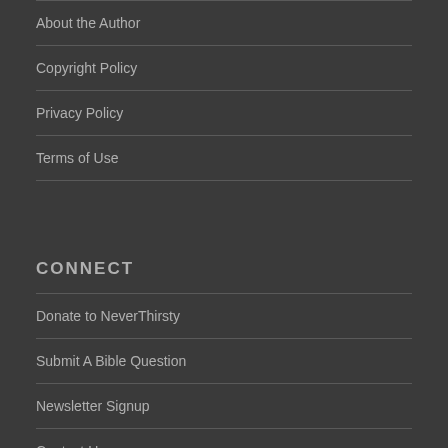About the Author
Copyright Policy
Privacy Policy
Terms of Use
CONNECT
Donate to NeverThirsty
Submit A Bible Question
Newsletter Signup
Contact Us